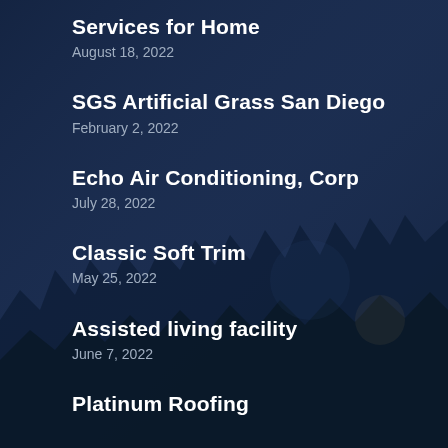Services for Home
August 18, 2022
SGS Artificial Grass San Diego
February 2, 2022
Echo Air Conditioning, Corp
July 28, 2022
Classic Soft Trim
May 25, 2022
Assisted living facility
June 7, 2022
Platinum Roofing